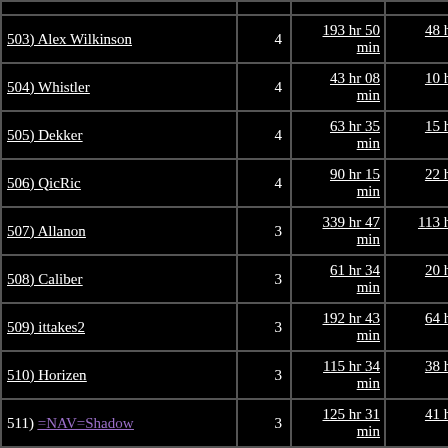| Name | Count | Total Time | Average Time |
| --- | --- | --- | --- |
| 503) Alex Wilkinson | 4 | 193 hr 50 min | 48 hr 27 min 40.0 sec |
| 504) Whistler | 4 | 43 hr 08 min | 10 hr 47 min 06.8 sec |
| 505) Dekker | 4 | 63 hr 35 min | 15 hr 53 min 45.1 sec |
| 506) QicRic | 4 | 90 hr 15 min | 22 hr 33 min 55.7 sec |
| 507) Allanon | 3 | 339 hr 47 min | 113 hr 15 min 53.9 sec |
| 508) Caliber | 3 | 61 hr 34 min | 20 hr 31 min 34.8 sec |
| 509) ittakes2 | 3 | 192 hr 43 min | 64 hr 14 min 38.1 sec |
| 510) Horizen | 3 | 115 hr 34 min | 38 hr 31 min 27.2 sec |
| 511) =NAV=Shadow | 3 | 125 hr 31 min | 41 hr 50 min 31.8 sec |
| 512) erycius | 3 | 167 hr 14 min | 55 hr 44 min 59.2 sec |
| 513) Rob Klown | 3 | 31 hr 42 | 10 hr 34 min |